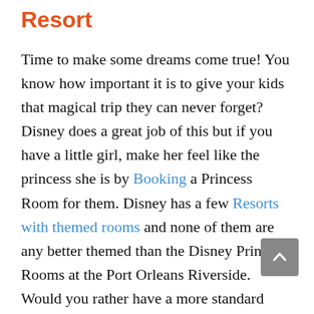Resort
Time to make some dreams come true! You know how important it is to give your kids that magical trip they can never forget? Disney does a great job of this but if you have a little girl, make her feel like the princess she is by Booking a Princess Room for them. Disney has a few Resorts with themed rooms and none of them are any better themed than the Disney Princess Rooms at the Port Orleans Riverside. Would you rather have a more standard room? Another benefit of staying at the Port Orleans Riverside is the fact that you are able to book a standard room that has additional sleeping space for a 5th person. Two